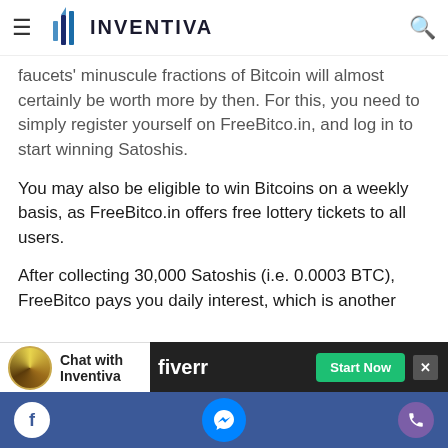INVENTIVA
faucets' minuscule fractions of Bitcoin will almost certainly be worth more by then. For this, you need to simply register yourself on FreeBitco.in, and log in to start winning Satoshis.
You may also be eligible to win Bitcoins on a weekly basis, as FreeBitco.in offers free lottery tickets to all users.
After collecting 30,000 Satoshis (i.e. 0.0003 BTC), FreeBitco pays you daily interest, which is another
Chat with Inventiva
fiverr  Start Now